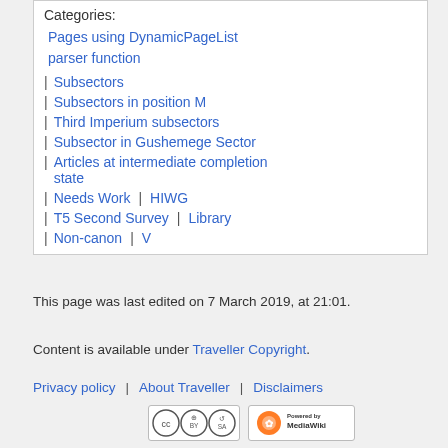Categories:
Pages using DynamicPageList parser function
Subsectors
Subsectors in position M
Third Imperium subsectors
Subsector in Gushemege Sector
Articles at intermediate completion state
Needs Work | HIWG
T5 Second Survey | Library
Non-canon | V
This page was last edited on 7 March 2019, at 21:01.
Content is available under Traveller Copyright.
Privacy policy  About Traveller  Disclaimers